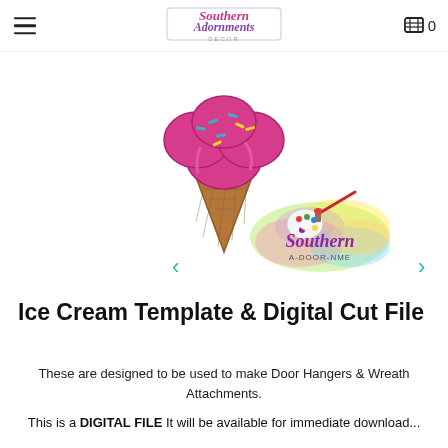Southern Adornments Decor — navigation header with hamburger menu, logo, and cart icon showing 0 items
[Figure (illustration): Ice cream cone illustration with pink/magenta scoops with teal and yellow sprinkles, brown waffle cone. Overlapping 'Southern A-Door-NME' watercolor logo with paint palette graphic. Left and right navigation arrows in teal.]
Ice Cream Template & Digital Cut File
These are designed to be used to make Door Hangers & Wreath Attachments.
This is a DIGITAL FILE It will be available for immediate download...